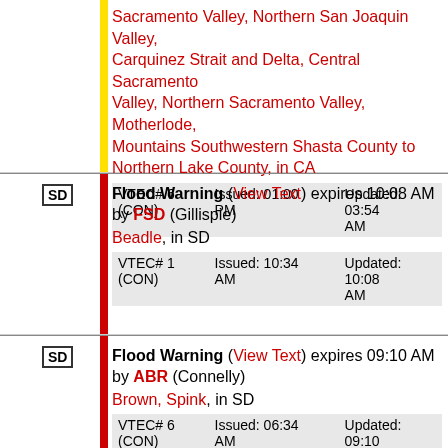Sacramento Valley, Northern San Joaquin Valley, Carquinez Strait and Delta, Central Sacramento Valley, Northern Sacramento Valley, Motherlode, Mountains Southwestern Shasta County to Northern Lake County, in CA
| VTEC# | Issued | Updated |
| --- | --- | --- |
| VTEC# 6 (CON) | Issued: 01:00 PM | Updated: 03:54 AM |
Flood Warning (View Text) expires 10:08 AM by FSD (Gillispie) Beadle, in SD
| VTEC# | Issued | Updated |
| --- | --- | --- |
| VTEC# 1 (CON) | Issued: 10:34 AM | Updated: 10:08 AM |
Flood Warning (View Text) expires 09:10 AM by ABR (Connelly) Brown, Spink, in SD
| VTEC# | Issued | Updated |
| --- | --- | --- |
| VTEC# 6 (CON) | Issued: 06:34 AM | Updated: 09:10 AM |